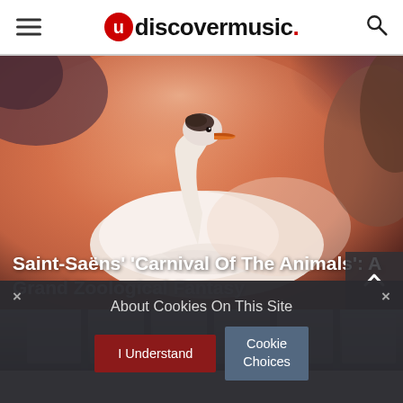uDiscoverMusic
[Figure (photo): Close-up photo of a white swan with an orange beak against an orange-pink warm-toned background, resembling a sunset or warm light.]
Saint-Saëns' ‘Carnival Of The Animals’: A Grand Zoological Fantasy
[Figure (photo): Partial photo of people in what appears to be an indoor venue or gallery setting, visible at the top portion before being obscured by cookie consent overlay.]
About Cookies On This Site
I Understand
Cookie Choices